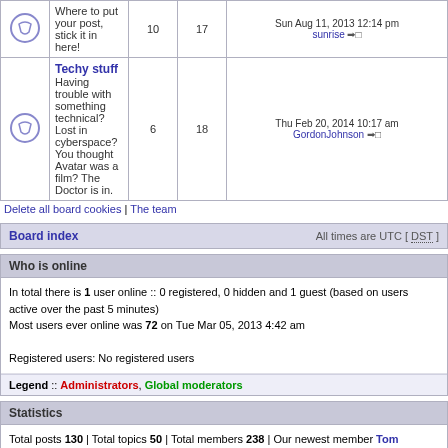|  | Forum | Topics | Posts | Last post |
| --- | --- | --- | --- | --- |
| [icon] | Where to put your post, stick it in here! | 10 | 17 | Sun Aug 11, 2013 12:14 pm sunrise → |
| [icon] | Techy stuff
Having trouble with something technical? Lost in cyberspace? You thought Avatar was a film? The Doctor is in. | 6 | 18 | Thu Feb 20, 2014 10:17 am GordonJohnson → |
Delete all board cookies | The team
Board index  All times are UTC [ DST ]
Who is online
In total there is 1 user online :: 0 registered, 0 hidden and 1 guest (based on users active over the past 5 minutes)
Most users ever online was 72 on Tue Mar 05, 2013 4:42 am

Registered users: No registered users
Legend :: Administrators, Global moderators
Statistics
Total posts 130 | Total topics 50 | Total members 238 | Our newest member Tom
Login